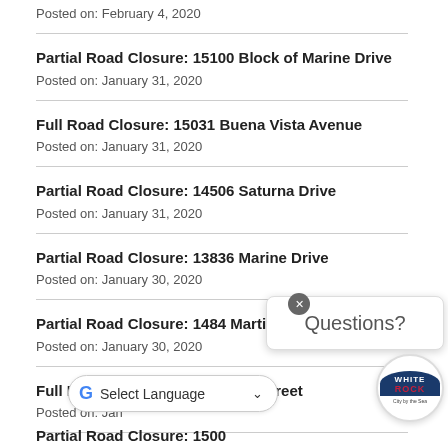Posted on: February 4, 2020
Partial Road Closure: 15100 Block of Marine Drive
Posted on: January 31, 2020
Full Road Closure: 15031 Buena Vista Avenue
Posted on: January 31, 2020
Partial Road Closure: 14506 Saturna Drive
Posted on: January 31, 2020
Partial Road Closure: 13836 Marine Drive
Posted on: January 30, 2020
Partial Road Closure: 1484 Martin Street
Posted on: January 30, 2020
Full Road Closure: 1484 Martin Street
Posted on: Jan
Partial Road Closure: 1500? Marine Drive
[Figure (screenshot): Questions? popup overlay with close button]
[Figure (logo): White Rock City by the Sea circular badge]
[Figure (screenshot): Google Translate Select Language dropdown bar]